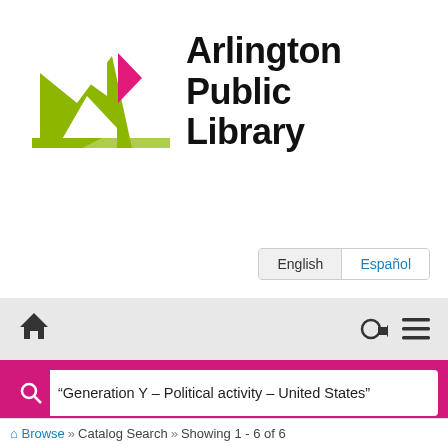[Figure (logo): Arlington Public Library logo with green angular book/mountain shape and pink triangle, next to bold text 'Arlington Public Library']
[Figure (screenshot): Language switcher buttons showing 'English' (gray background) and 'Español' (blue text, white background)]
[Figure (screenshot): Navigation bar with home icon on left and login/menu icons on right, gray background]
[Figure (screenshot): Search interface with pink background, search box containing '"Generation Y – Political activity – United States"', by Subject dropdown, in Library Catalog dropdown, Search and Filters buttons]
Browse » Catalog Search » Showing 1 - 6 of 6